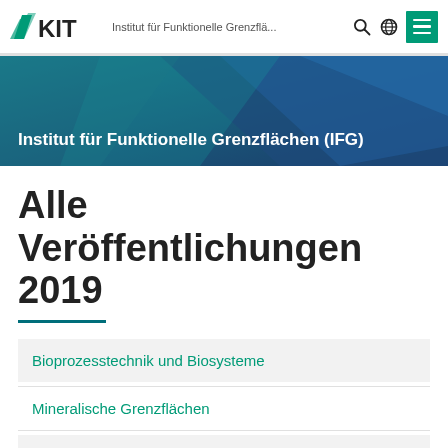KIT – Institut für Funktionelle Grenzflä...
[Figure (screenshot): KIT website header with KIT logo, institute name 'Institut für Funktionelle Grenzflä...', search icon, globe icon, and green hamburger menu button]
[Figure (illustration): Hero banner with blue-teal gradient diagonal shapes background]
Institut für Funktionelle Grenzflächen (IFG)
Alle Veröffentlichungen 2019
Bioprozesstechnik und Biosysteme
Mineralische Grenzflächen
Neue Polymere und Biomaterialien